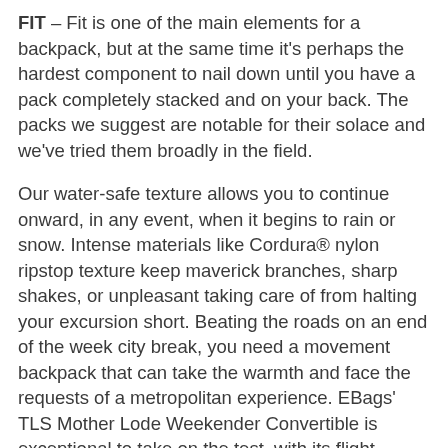FIT – Fit is one of the main elements for a backpack, but at the same time it's perhaps the hardest component to nail down until you have a pack completely stacked and on your back. The packs we suggest are notable for their solace and we've tried them broadly in the field.
Our water-safe texture allows you to continue onward, in any event, when it begins to rain or snow. Intense materials like Cordura® nylon ripstop texture keep maverick branches, sharp shakes, or unpleasant taking care of from halting your excursion short. Beating the roads on an end of the week city break, you need a movement backpack that can take the warmth and face the requests of a metropolitan experience. EBags' TLS Mother Lode Weekender Convertible is exceptional to take on the test, with its flight-accommodating size and adaptable interior space, hard core texture and zippers, airmesh back ties and lightweight plan. Produced using sturdy polyester and planned with a large group of advantageous provisions, the Travel china laptop backpack with usb Gear Lightweight is incredible for school or metropolitan travel, with gobs of inside space for your laptop